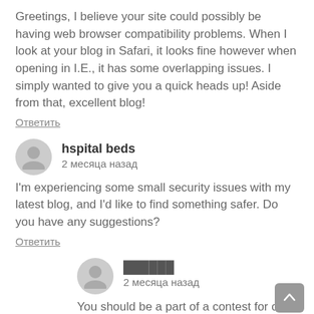Greetings, I believe your site could possibly be having web browser compatibility problems. When I look at your blog in Safari, it looks fine however when opening in I.E., it has some overlapping issues. I simply wanted to give you a quick heads up! Aside from that, excellent blog!
Ответить
hspital beds
2 месяца назад
I'm experiencing some small security issues with my latest blog, and I'd like to find something safer. Do you have any suggestions?
Ответить
██████
2 месяца назад
You should be a part of a contest for one of the finest websites online. I'm going to recommend this web site!
Ответить